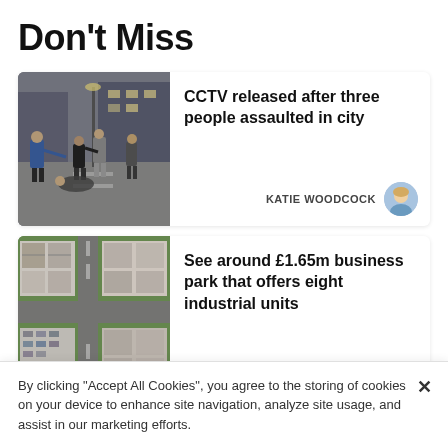Don't Miss
[Figure (photo): CCTV footage still showing several people involved in a street altercation at night]
CCTV released after three people assaulted in city
KATIE WOODCOCK
[Figure (photo): Aerial view of a business park with industrial units, parking areas, and surrounding greenery]
See around £1.65m business park that offers eight industrial units
By clicking "Accept All Cookies", you agree to the storing of cookies on your device to enhance site navigation, analyze site usage, and assist in our marketing efforts.